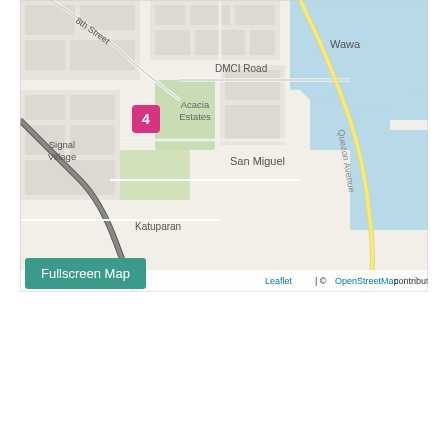[Figure (map): OpenStreetMap street map showing an area including DMCI Road, Wawa, Acacia Estates, San Miguel, Signal Village, Quezon Avenue, Katuparan, and 8th Street. A pink/magenta numbered marker '4' is visible near DMCI Road. The map has Leaflet and OpenStreetMap attribution in the bottom right. A black curved road runs diagonally across the left side of the map.]
Fullscreen Map